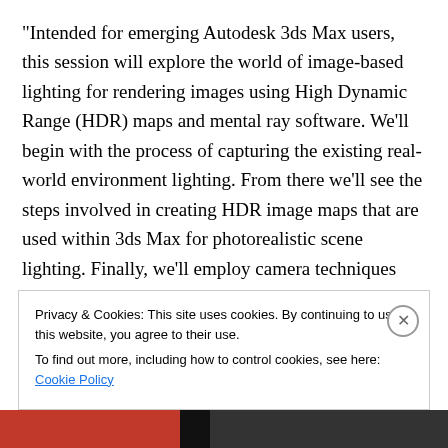“Intended for emerging Autodesk 3ds Max users, this session will explore the world of image-based lighting for rendering images using High Dynamic Range (HDR) maps and mental ray software. We’ll begin with the process of capturing the existing real-world environment lighting. From there we’ll see the steps involved in creating HDR image maps that are used within 3ds Max for photorealistic scene lighting. Finally, we’ll employ camera techniques that will create very real images that combine computer graphics and real photographs for completely believable and seamless final imagery.”
Privacy & Cookies: This site uses cookies. By continuing to use this website, you agree to their use. To find out more, including how to control cookies, see here: Cookie Policy